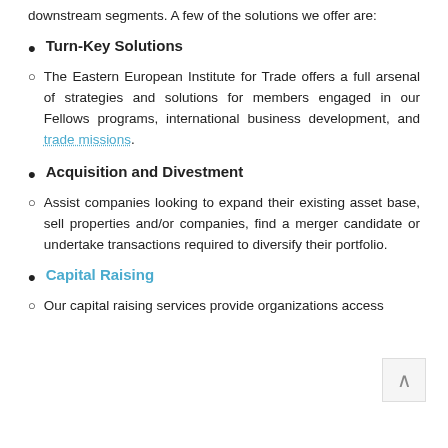downstream segments. A few of the solutions we offer are:
Turn-Key Solutions
○  The Eastern European Institute for Trade offers a full arsenal of strategies and solutions for members engaged in our Fellows programs, international business development, and trade missions.
Acquisition and Divestment
○  Assist companies looking to expand their existing asset base, sell properties and/or companies, find a merger candidate or undertake transactions required to diversify their portfolio.
Capital Raising
○  Our capital raising services provide organizations access